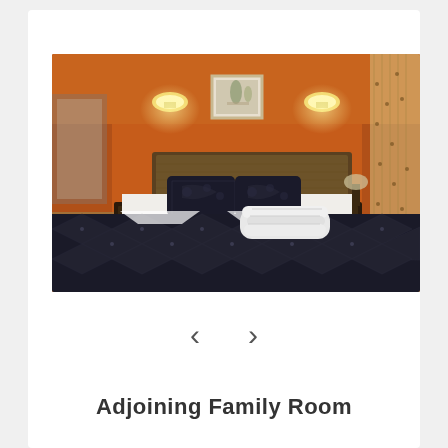[Figure (photo): Hotel bedroom with orange walls, a large black quilted bed with black decorative pillows and white pillows, white folded towels placed on the bed, dark wood nightstands on each side, two wall sconces, a framed picture above the headboard, and patterned curtains on the right side.]
< >
Adjoining Family Room